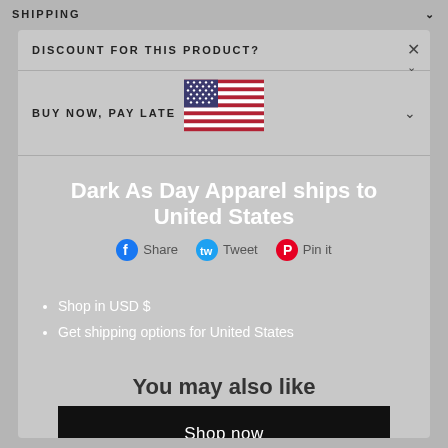SHIPPING
DISCOUNT FOR THIS PRODUCT?
BUY NOW, PAY LATE
[Figure (illustration): US flag emoji]
Dark As Day Apparel ships to United States
Share  Tweet  Pin it
Shop in USD $
Get shipping options for United States
You may also like
Shop now
Change shipping country